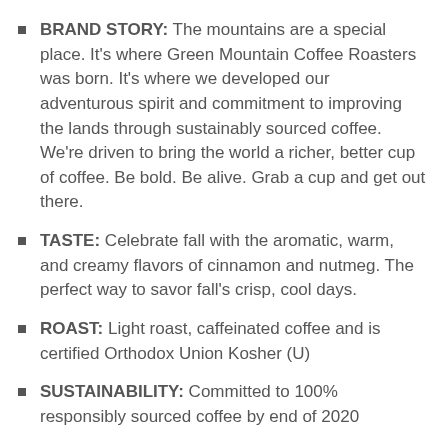BRAND STORY: The mountains are a special place. It's where Green Mountain Coffee Roasters was born. It's where we developed our adventurous spirit and commitment to improving the lands through sustainably sourced coffee. We're driven to bring the world a richer, better cup of coffee. Be bold. Be alive. Grab a cup and get out there.
TASTE: Celebrate fall with the aromatic, warm, and creamy flavors of cinnamon and nutmeg. The perfect way to savor fall's crisp, cool days.
ROAST: Light roast, caffeinated coffee and is certified Orthodox Union Kosher (U)
SUSTAINABILITY: Committed to 100% responsibly sourced coffee by end of 2020
COMPATIBILITY: Contains genuine Keurig K-Cup pods, engineered for guaranteed quality and compatibility